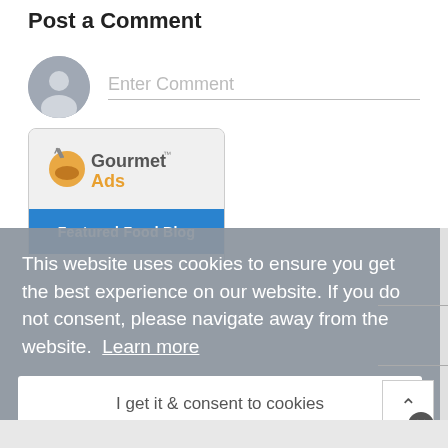Post a Comment
Enter Comment
[Figure (logo): GourmetAds Featured Food Blog badge with bowl/spoon icon and blue banner]
This website uses cookies to ensure you get the best experience on our website. If you do not consent, please navigate away from the website.  Learn more
I get it & consent to cookies